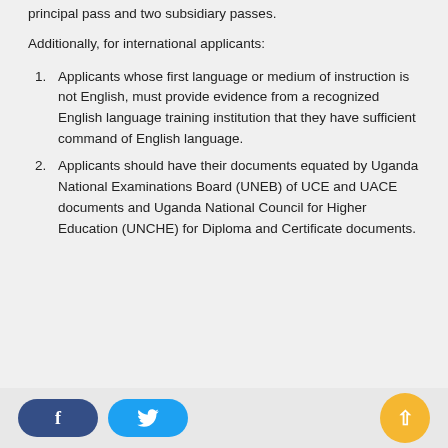principal pass and two subsidiary passes.
Additionally, for international applicants:
Applicants whose first language or medium of instruction is not English, must provide evidence from a recognized English language training institution that they have sufficient command of English language.
Applicants should have their documents equated by Uganda National Examinations Board (UNEB) of UCE and UACE documents and Uganda National Council for Higher Education (UNCHE) for Diploma and Certificate documents.
Social share buttons and scroll-to-top button